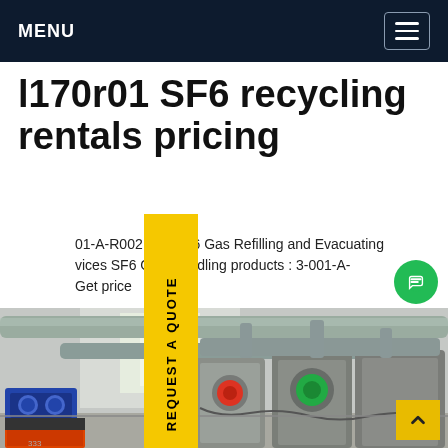MENU
l170r01 SF6 recycling rentals pricing
01-A-R002 Dilo SF6 Gas Refilling and Evacuating vices SF6 GAS handling products : 3-001-A- Get price
[Figure (photo): Industrial SF6 gas recycling and handling equipment in a factory setting, showing compressors, blue motors, orange frames, and large grey gas handling units with pipes and valves.]